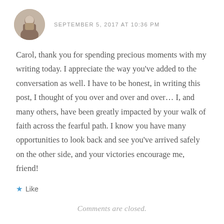[Figure (photo): Circular avatar photo of a person outdoors]
SEPTEMBER 5, 2017 AT 10:36 PM
Carol, thank you for spending precious moments with my writing today. I appreciate the way you've added to the conversation as well. I have to be honest, in writing this post, I thought of you over and over and over… I, and many others, have been greatly impacted by your walk of faith across the fearful path. I know you have many opportunities to look back and see you've arrived safely on the other side, and your victories encourage me, friend!
Like
Comments are closed.